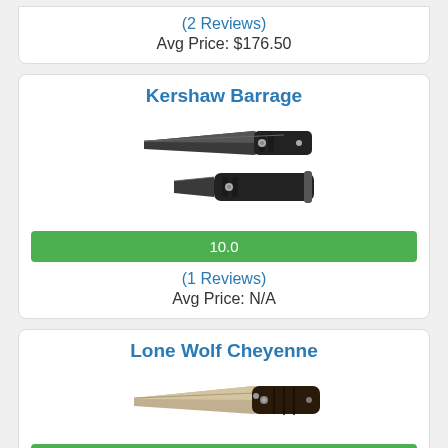(2 Reviews)
Avg Price: $176.50
Kershaw Barrage
[Figure (photo): Photo of Kershaw Barrage folding knife, black blade and handle, shown open and closed]
10.0
(1 Reviews)
Avg Price: N/A
Lone Wolf Cheyenne
[Figure (photo): Photo of Lone Wolf Cheyenne folding knife, silver blade with dark handle]
10.0
(1 Reviews)
Avg Price: N/A